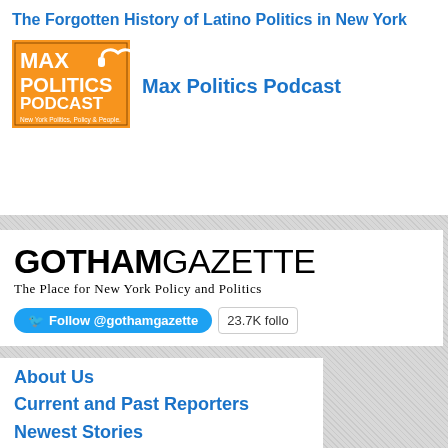The Forgotten History of Latino Politics in New York
[Figure (logo): Max Politics Podcast logo - orange background with headphones icon, text reading MAX POLITICS PODCAST New York Politics, Policy & People]
Max Politics Podcast
[Figure (logo): Gotham Gazette logo with tagline: The Place for New York Policy and Politics, and Twitter follow button showing 23.7K followers]
About Us
Current and Past Reporters
Newest Stories
Contact Us